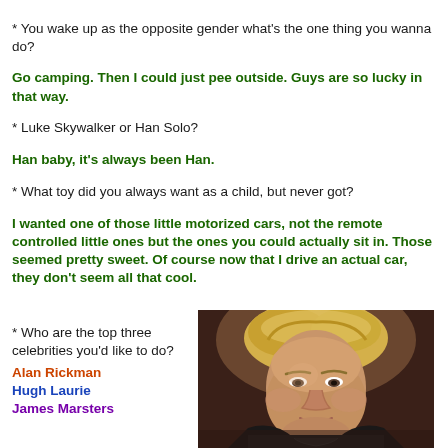* You wake up as the opposite gender what's the one thing you wanna do?
Go camping. Then I could just pee outside. Guys are so lucky in that way.
* Luke Skywalker or Han Solo?
Han baby, it's always been Han.
* What toy did you always want as a child, but never got?
I wanted one of those little motorized cars, not the remote controlled little ones but the ones you could actually sit in. Those seemed pretty sweet. Of course now that I drive an actual car, they don't seem all that cool.
* Who are the top three celebrities you'd like to do?
Alan Rickman
Hugh Laurie
James Marsters
[Figure (photo): Photo of a blonde-haired male celebrity with a leather jacket, looking intensely at the camera]